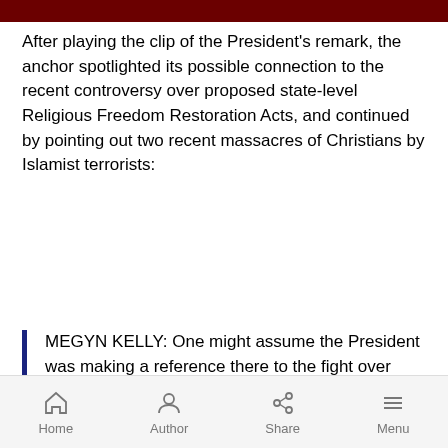[Figure (photo): Decorative red/dark banner strip at the top of the page]
After playing the clip of the President's remark, the anchor spotlighted its possible connection to the recent controversy over proposed state-level Religious Freedom Restoration Acts, and continued by pointing out two recent massacres of Christians by Islamist terrorists:
MEGYN KELLY: One might assume the President was making a reference there to the fight over Indiana's religious freedom law, but the White House later refused to comment on the President's meaning. Nevertheless, his remarks
Home   Author   Share   Menu